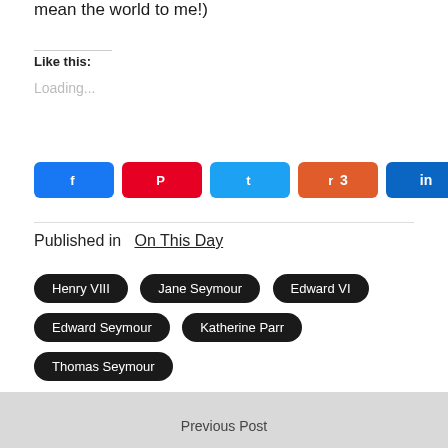mean the world to me!)
Like this:
Loading...
[Figure (infographic): Social share buttons row: Facebook, Pinterest, Twitter, Reddit (3), LinkedIn, Email, and share count of 862 SHARES]
Published in   On This Day
Henry VIII
Jane Seymour
Edward VI
Edward Seymour
Katherine Parr
Thomas Seymour
Previous Post